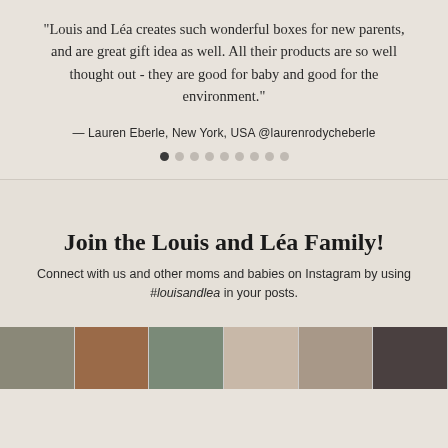"Louis and Léa creates such wonderful boxes for new parents, and are great gift idea as well. All their products are so well thought out - they are good for baby and good for the environment."
— Lauren Eberle, New York, USA @laurenrodycheberle
Join the Louis and Léa Family!
Connect with us and other moms and babies on Instagram by using #louisandlea in your posts.
[Figure (photo): A horizontal strip of Instagram photo thumbnails showing babies and parents]